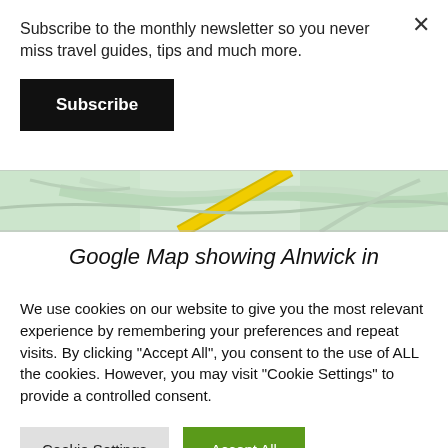Subscribe to the monthly newsletter so you never miss travel guides, tips and much more.
Subscribe
[Figure (map): Google Map showing Alnwick in Northumberland, UK — a partial view of a map with light green areas and a yellow road diagonal]
Google Map showing Alnwick in
We use cookies on our website to give you the most relevant experience by remembering your preferences and repeat visits. By clicking "Accept All", you consent to the use of ALL the cookies. However, you may visit "Cookie Settings" to provide a controlled consent.
Cookie Settings
Accept All